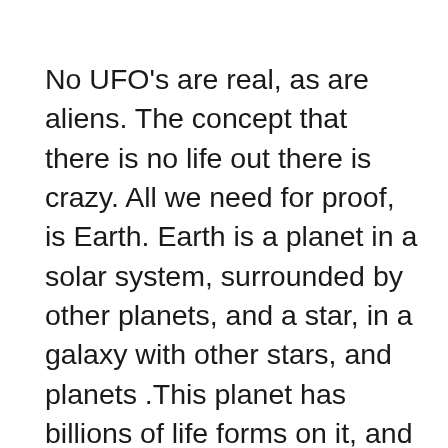No UFO's are real, as are aliens. The concept that there is no life out there is crazy. All we need for proof, is Earth. Earth is a planet in a solar system, surrounded by other planets, and a star, in a galaxy with other stars, and planets .This planet has billions of life forms on it, and we interact with each other everyday. Again if we want proof that there is life on other planets, then just look at us all, we are all living beings on a planet..simple concept right. If anyone says that idea of other planets is crazy, again what is our moon... a ball of cheese, or what is